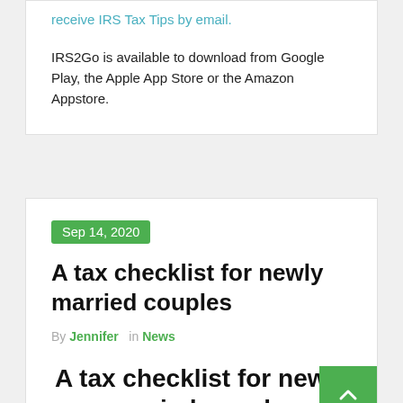receive IRS Tax Tips by email.
IRS2Go is available to download from Google Play, the Apple App Store or the Amazon Appstore.
Sep 14, 2020
A tax checklist for newly married couples
By Jennifer in News
A tax checklist for newly married couples